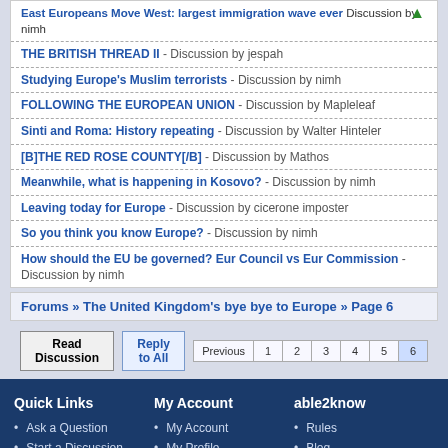East Europeans Move West: largest immigration wave ever - Discussion by nimh
THE BRITISH THREAD II - Discussion by jespah
Studying Europe's Muslim terrorists - Discussion by nimh
FOLLOWING THE EUROPEAN UNION - Discussion by Mapleleaf
Sinti and Roma: History repeating - Discussion by Walter Hinteler
[B]THE RED ROSE COUNTY[/B] - Discussion by Mathos
Meanwhile, what is happening in Kosovo? - Discussion by nimh
Leaving today for Europe - Discussion by cicerone imposter
So you think you know Europe? - Discussion by nimh
How should the EU be governed? Eur Council vs Eur Commission - Discussion by nimh
Forums » The United Kingdom's bye bye to Europe » Page 6
Read Discussion  Reply to All  Previous 1 2 3 4 5 6
Quick Links
My Account
able2know
Ask a Question
Start a Discussion
My Account
My Profile
My Preferences
Rules
Blog
Twitter